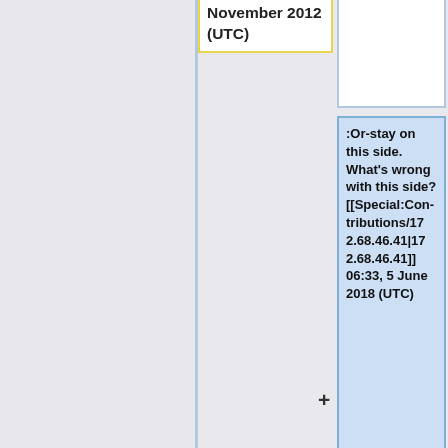November 2012 (UTC)
:Or-stay on this side. What's wrong with this side? [[Special:Contributions/172.68.46.41|172.68.46.41]] 06:33, 5 June 2018 (UTC)
I'd say that the wolf is the only one amongst them he should keep. Seeing as how the wolf doesn't